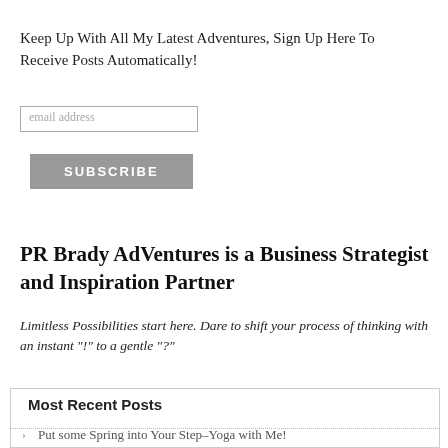Keep Up With All My Latest Adventures, Sign Up Here To Receive Posts Automatically!
[Figure (other): Email address input field with placeholder text 'email address']
[Figure (other): Subscribe button with grey background and white uppercase text 'SUBSCRIBE']
PR Brady AdVentures is a Business Strategist and Inspiration Partner
Limitless Possibilities start here. Dare to shift your process of thinking with an instant "!" to a gentle "?"
Most Recent Posts
Put some Spring into Your Step–Yoga with Me!